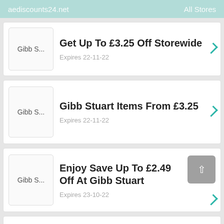aediscounts24.net   All Stores
Get Up To £3.25 Off Storewide — Expires 22-11-22
Gibb Stuart Items From £3.25 — Expires 22-11-22
Enjoy Save Up To £2.49 Off At Gibb Stuart — Expires 23-10-22